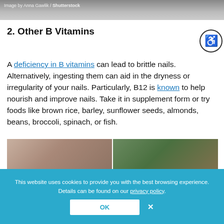[Figure (photo): Top portion of an image with photo credit 'Image by Anna Gawlik / Shutterstock']
2. Other B Vitamins
A deficiency in B vitamins can lead to brittle nails. Alternatively, ingesting them can aid in the dryness or irregularity of your nails. Particularly, B12 is known to help nourish and improve nails. Take it in supplement form or try foods like brown rice, barley, sunflower seeds, almonds, beans, broccoli, spinach, or fish.
[Figure (photo): Photo of natural foods/ingredients on a wooden surface, split into two panels]
This website uses cookies to provide you with the best browsing experience. Details can be found on our privacy policy.